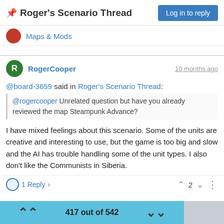📌 Roger's Scenario Thread
Maps & Mods
Log in to reply
RogerCooper  10 months ago
@board-3659 said in Roger's Scenario Thread:
@rogercooper Unrelated question but have you already reviewed the map Steampunk Advance?
I have mixed feelings about this scenario. Some of the units are creative and interesting to use, but the game is too big and slow and the AI has trouble handling some of the unit types. I also don't like the Communists in Siberia.
1 Reply   2
417 out of 542